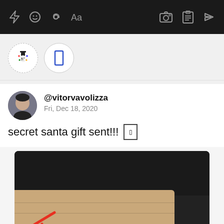[Figure (screenshot): Mobile app toolbar with icons: lightning bolt, smiley face, at-sign, Aa text, camera, clipboard, send arrow]
[Figure (screenshot): Two circular icon bubbles: one with a snowman/hat character labeled h, one with a blue rectangle]
@vitorvavolizza
Fri, Dec 18, 2020
secret santa gift sent!!!  📦
[Figure (photo): Photo of a brown kraft paper bag or envelope on a dark background, with a red arrow or mark visible at the bottom]